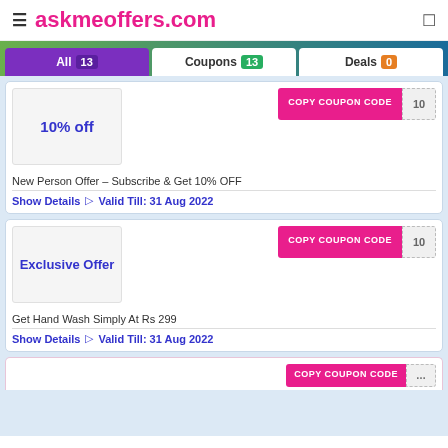askmeoffers.com
All 13   Coupons 13   Deals 0
10% off
New Person Offer – Subscribe & Get 10% OFF
Show Details  Valid Till: 31 Aug 2022
Exclusive Offer
Get Hand Wash Simply At Rs 299
Show Details  Valid Till: 31 Aug 2022